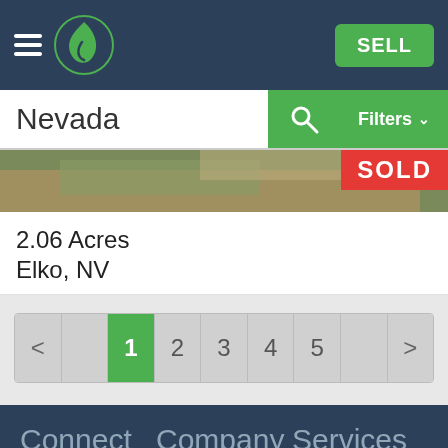[Figure (screenshot): Navigation bar with hamburger menu, green leaf logo, and green SELL button on dark blue background]
[Figure (screenshot): Search bar with text 'Nevada', green search icon button, and green Filters dropdown button]
[Figure (photo): Partial land/property photo strip with SOLD badge in red]
2.06 Acres
Elko, NV
[Figure (screenshot): Pagination controls showing pages < 1 2 3 4 5 > with page 1 highlighted in green]
Connect
Company
Services
[Figure (screenshot): Blue MAP button with location pin icon]
About Us
Create Account